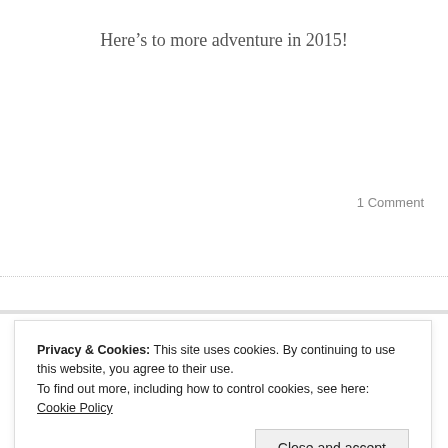Here’s to more adventure in 2015!
1 Comment
Privacy & Cookies: This site uses cookies. By continuing to use this website, you agree to their use.
To find out more, including how to control cookies, see here: Cookie Policy
Close and accept